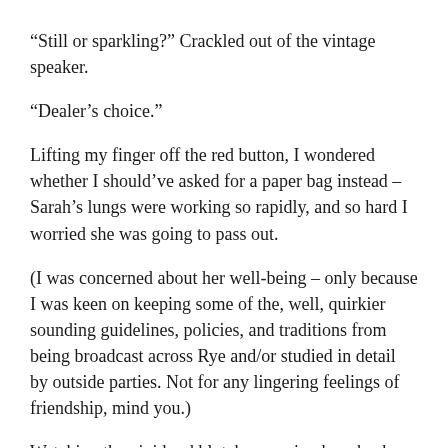“Still or sparkling?” Crackled out of the vintage speaker.
“Dealer’s choice.”
Lifting my finger off the red button, I wondered whether I should’ve asked for a paper bag instead – Sarah’s lungs were working so rapidly, and so hard I worried she was going to pass out.
(I was concerned about her well-being – only because I was keen on keeping some of the, well, quirkier sounding guidelines, policies, and traditions from being broadcast across Rye and/or studied in detail by outside parties. Not for any lingering feelings of friendship, mind you.)
Watching the vivid red blotches gracing her cheeks swiftly dull to a light rose – I skipped around the desk to where